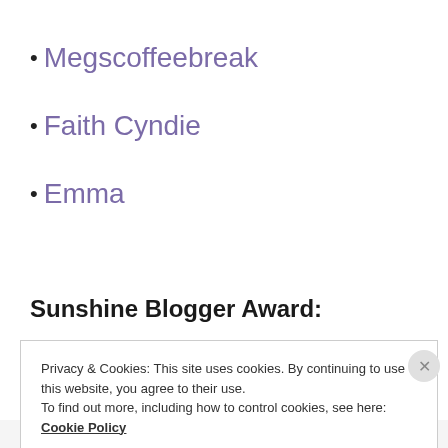Megscoffeebreak
Faith Cyndie
Emma
Sunshine Blogger Award:
Privacy & Cookies: This site uses cookies. By continuing to use this website, you agree to their use.
To find out more, including how to control cookies, see here: Cookie Policy
Close and accept